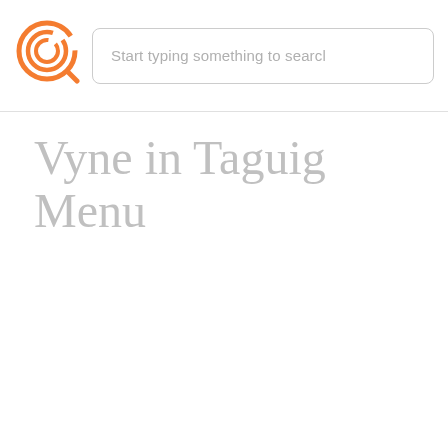[Figure (logo): Circular orange spiral logo icon with magnifying glass]
Start typing something to search
Vyne in Taguig Menu